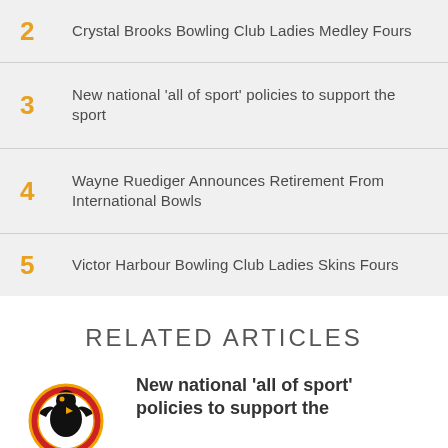2 Crystal Brooks Bowling Club Ladies Medley Fours
3 New national 'all of sport' policies to support the sport
4 Wayne Ruediger Announces Retirement From International Bowls
5 Victor Harbour Bowling Club Ladies Skins Fours
RELATED ARTICLES
New national 'all of sport' policies to support the